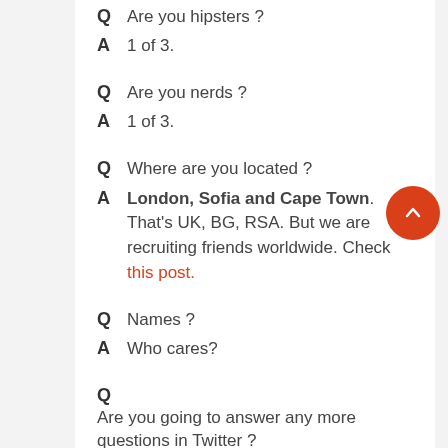Q  Are you hipsters ?
A  1 of 3.
Q  Are you nerds ?
A  1 of 3.
Q  Where are you located ?
A  London, Sofia and Cape Town. That's UK, BG, RSA. But we are recruiting friends worldwide. Check this post.
Q  Names ?
A  Who cares?
Q  Are you going to answer any more questions in Twitter ?
A  Absof***inglutely.